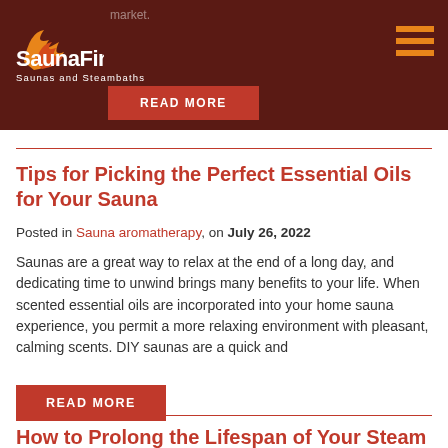SaunaFin Saunas and Steambaths
Tips for Picking the Perfect Essential Oils for Your Sauna
Posted in Sauna aromatherapy, on July 26, 2022
Saunas are a great way to relax at the end of a long day, and dedicating time to unwind brings many benefits to your life. When scented essential oils are incorporated into your home sauna experience, you permit a more relaxing environment with pleasant, calming scents. DIY saunas are a quick and
READ MORE
How to Prolong the Lifespan of Your Steam Generator
Posted in steam bath, on July 22, 2022